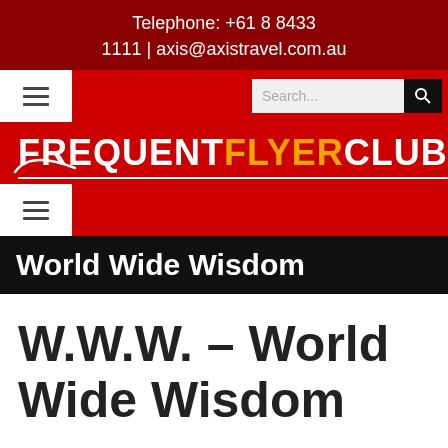Telephone: +61 8 8433 1111 | axis@axistravel.com.au
[Figure (screenshot): Website navigation bar with hamburger menu button and search field]
[Figure (logo): FrequentFlyerClub logo in white and orange text on red background with swoosh underline]
World Wide Wisdom
W.W.W. – World Wide Wisdom Experience